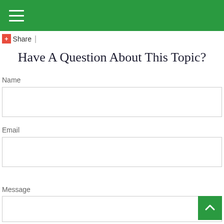Navigation menu (hamburger icon)
+ Share |
Have A Question About This Topic?
Name
Email
Message